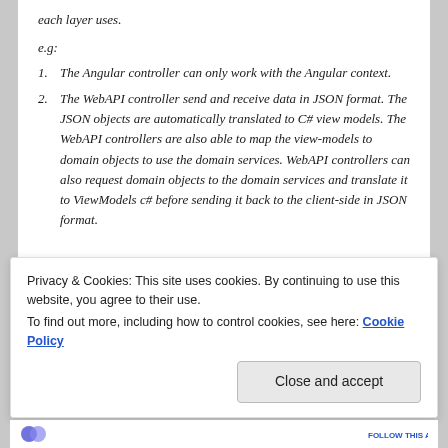each layer uses.
e.g:
The Angular controller can only work with the Angular context.
The WebAPI controller send and receive data in JSON format. The JSON objects are automatically translated to C# view models. The WebAPI controllers are also able to map the view-models to domain objects to use the domain services. WebAPI controllers can also request domain objects to the domain services and translate it to ViewModels c# before sending it back to the client-side in JSON format.
Privacy & Cookies: This site uses cookies. By continuing to use this website, you agree to their use. To find out more, including how to control cookies, see here: Cookie Policy